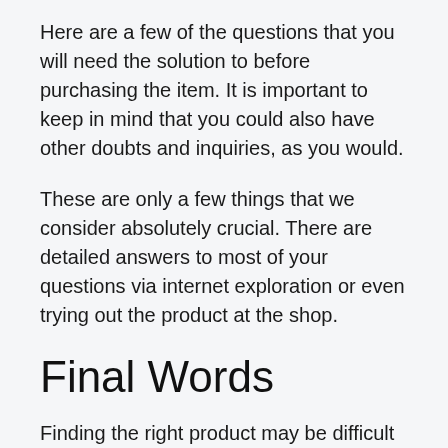Here are a few of the questions that you will need the solution to before purchasing the item. It is important to keep in mind that you could also have other doubts and inquiries, as you would.
These are only a few things that we consider absolutely crucial. There are detailed answers to most of your questions via internet exploration or even trying out the product at the shop.
Final Words
Finding the right product may be difficult because there are several options. Narrowing down the best products can be